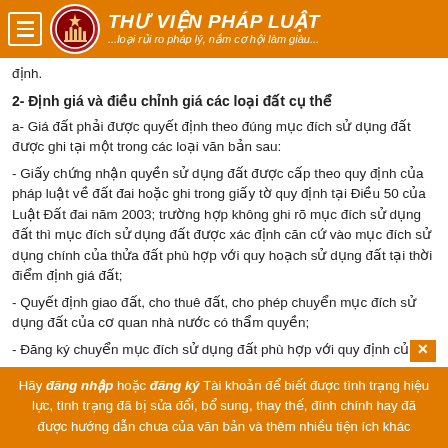THƯ VIỆN PHÁP LUẬT — ...loại rủi ro pháp lý, nắm cơ hội làm giàu...
định.
2- Định giá và điều chỉnh giá các loại đất cụ thể
a- Giá đất phải được quyết định theo đúng mục đích sử dụng đất được ghi tại một trong các loại văn bản sau:
- Giấy chứng nhận quyền sử dụng đất được cấp theo quy định của pháp luật về đất đai hoặc ghi trong giấy tờ quy định tại Điều 50 của Luật Đất đai năm 2003; trường hợp không ghi rõ mục đích sử dụng đất thì mục đích sử dụng đất được xác định căn cứ vào mục đích sử dụng chính của thửa đất phù hợp với quy hoạch sử dụng đất tại thời điểm định giá đất;
- Quyết định giao đất, cho thuê đất, cho phép chuyển mục đích sử dụng đất của cơ quan nhà nước có thẩm quyền;
- Đăng ký chuyển mục đích sử dụng đất phù hợp với quy định củ...
Hãy đăng nhập hoặc đăng ký Tài khoản để biết được tình trạng hiệu lực, tình trạng đã bị sửa đổi, bổ sung, thay thế, đính chính hay đã được hướng dẫn chưa của văn bản và thêm nhiều tiện ích khác